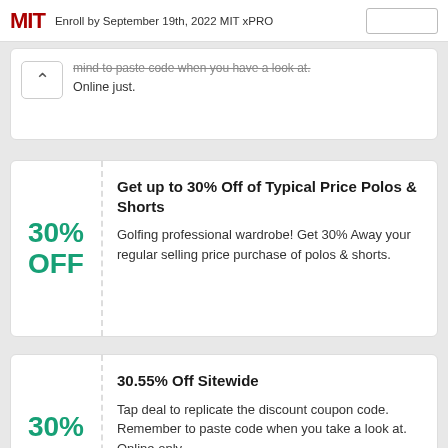MIT xPRO — Enroll by September 19th, 2022 MIT xPRO
mind to paste code when you have a look at. Online just.
30% OFF
Get up to 30% Off of Typical Price Polos & Shorts
Golfing professional wardrobe! Get 30% Away your regular selling price purchase of polos & shorts.
30% OFF
30.55% Off Sitewide
Tap deal to replicate the discount coupon code. Remember to paste code when you take a look at. Online only.